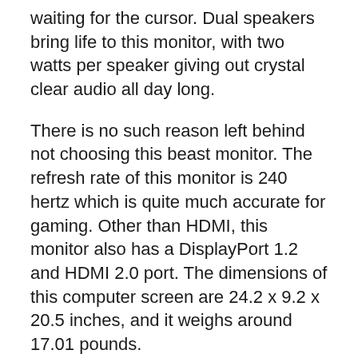waiting for the cursor. Dual speakers bring life to this monitor, with two watts per speaker giving out crystal clear audio all day long.
There is no such reason left behind not choosing this beast monitor. The refresh rate of this monitor is 240 hertz which is quite much accurate for gaming. Other than HDMI, this monitor also has a DisplayPort 1.2 and HDMI 2.0 port. The dimensions of this computer screen are 24.2 x 9.2 x 20.5 inches, and it weighs around 17.01 pounds.
[Figure (other): A rounded yellow/gold button with bold black text reading 'Buy Acer Nitro XV272 Xbmiiprx Now']